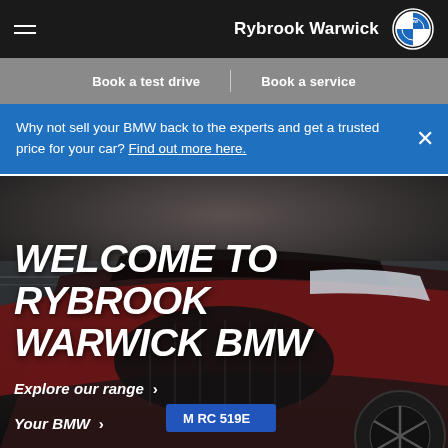Rybrook Warwick
Book a test drive | Book a service
Why not sell your BMW back to the experts and get a trusted price for your car? Find out more here.
[Figure (photo): Close-up front view of a red BMW iX electric SUV parked near water/coastline, showing the distinctive large kidney grille and headlights. License plate reads M RC 519E.]
WELCOME TO RYBROOK WARWICK BMW
Explore our range >
Your BMW >